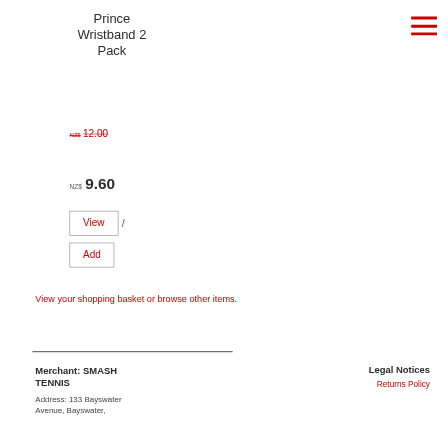Prince Wristband 2 Pack
NZ$ 12.00 (strikethrough, original price)
NZ$ 9.60 (sale price)
View / Add
View your shopping basket or browse other items.
Merchant: SMASH TENNIS
Address: 133 Bayswater Avenue, Bayswater,
Legal Notices
Returns Policy